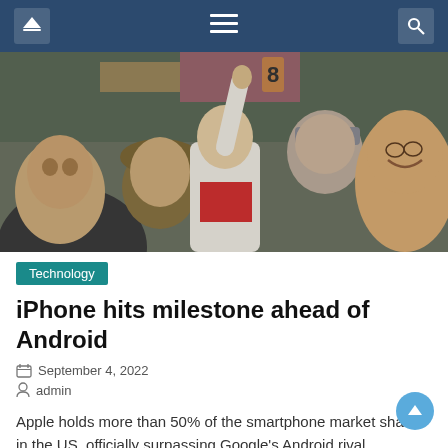Navigation bar with home, menu, and search icons
[Figure (photo): Crowd of people in winter clothing, one woman in white jacket with red scarf raising her hand and looking up, another woman smiling on the right, urban setting]
Technology
iPhone hits milestone ahead of Android
September 4, 2022
admin
Apple holds more than 50% of the smartphone market share in the US, officially surpassing Google's Android rival. According to research firm Counterpoint Research, the 50% milestone – the highest since the iPhone was launched in